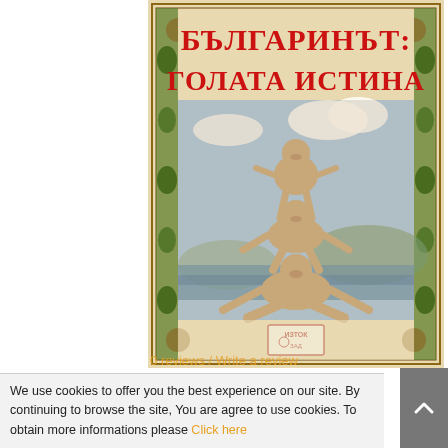[Figure (illustration): Book cover titled 'БЪЛГАРИНЪТ: ГОЛАТА ИСТИНА' (The Bulgarian: The Naked Truth) featuring decorative border with ornamental floral motifs, red Cyrillic title text at top, and a sepia-toned vintage photograph of three men in a human pyramid/acrobatic pose against a lakeside background. Publisher logo at bottom center.]
We use cookies to offer you the best experience on our site. By continuing to browse the site, You are agree to use cookies. To obtain more informations please Click here